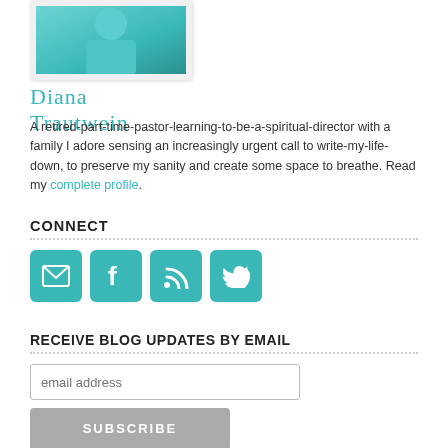[Figure (photo): Photo of Diana Trautwein — a person in a teal top outdoors, shown from waist up, styled as a polaroid/photo with white border.]
Diana Trautwein
A retired-part-time-pastor-learning-to-be-a-spiritual-director with a family I adore sensing an increasingly urgent call to write-my-life-down, to preserve my sanity and create some space to breathe. Read my complete profile.
CONNECT
[Figure (infographic): Four teal square icon buttons in a row: email envelope, Facebook f, RSS feed, Twitter bird]
RECEIVE BLOG UPDATES BY EMAIL